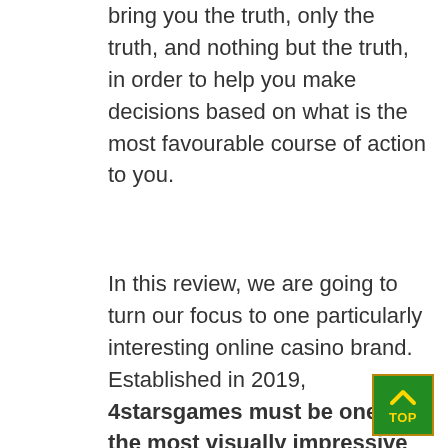bring you the truth, only the truth, and nothing but the truth, in order to help you make decisions based on what is the most favourable course of action to you.
In this review, we are going to turn our focus to one particularly interesting online casino brand. Established in 2019, 4starsgames must be one of the most visually impressive casinos we have ever laid our eyes on. Some could argue that you should never judge a book by its cover and that this also applies to the most beautiful of books, but we do think that aesthetically-pleasing visuals are a great starting point. In other words, they can be a strong sign of the casino's undeniable willingness to go the extra mile to provide